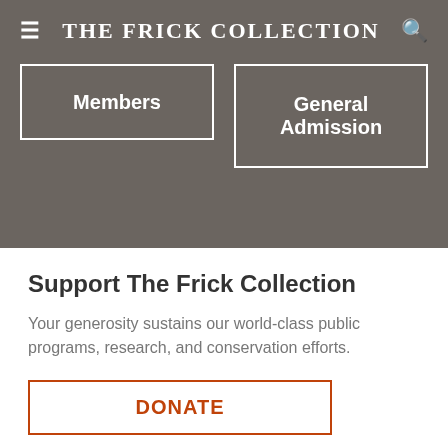THE FRICK COLLECTION
Members
General Admission
Support The Frick Collection
Your generosity sustains our world-class public programs, research, and conservation efforts.
DONATE
The Frick at Your Fingertips
Museum and library news straight to your inbox. Sign up today!